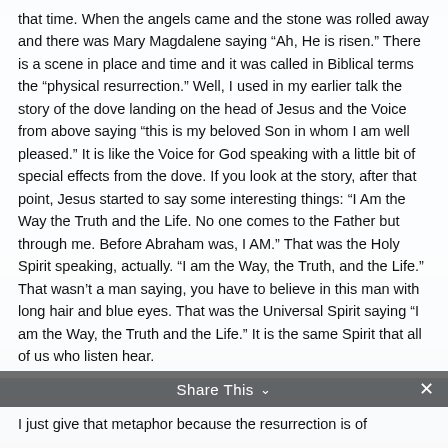that time. When the angels came and the stone was rolled away and there was Mary Magdalene saying “Ah, He is risen.” There is a scene in place and time and it was called in Biblical terms the “physical resurrection.” Well, I used in my earlier talk the story of the dove landing on the head of Jesus and the Voice from above saying “this is my beloved Son in whom I am well pleased.” It is like the Voice for God speaking with a little bit of special effects from the dove. If you look at the story, after that point, Jesus started to say some interesting things: “I Am the Way the Truth and the Life. No one comes to the Father but through me. Before Abraham was, I AM.” That was the Holy Spirit speaking, actually. “I am the Way, the Truth, and the Life.” That wasn’t a man saying, you have to believe in this man with long hair and blue eyes. That was the Universal Spirit saying “I am the Way, the Truth and the Life.” It is the same Spirit that all of us who listen hear.
Share This
I just give that metaphor because the resurrection is of